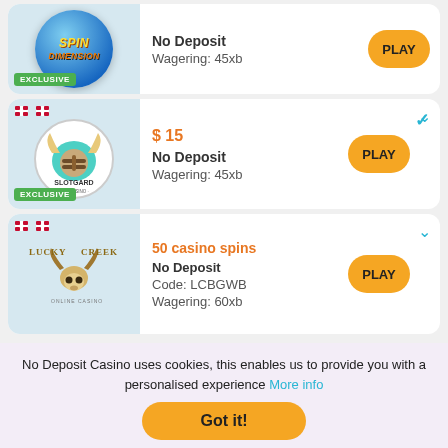[Figure (logo): Spin Dimension casino logo with blue circle and EXCLUSIVE badge]
No Deposit
Wagering: 45xb
[Figure (logo): PLAY button (yellow oval)]
[Figure (logo): Slotgard casino logo with viking helmet, Danish flag, EXCLUSIVE badge]
$ 15
No Deposit
Wagering: 45xb
[Figure (logo): PLAY button (yellow oval)]
[Figure (logo): Lucky Creek casino logo with bull skull, Danish flag]
50 casino spins
No Deposit
Code: LCBGWB
Wagering: 60xb
[Figure (logo): PLAY button (yellow oval)]
No Deposit Casino uses cookies, this enables us to provide you with a personalised experience More info
Got it!